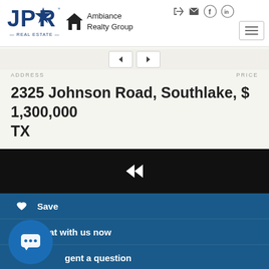[Figure (logo): JPAR Real Estate logo — blue star with JP and A letters, 'REAL ESTATE' text below]
[Figure (logo): Ambiance Realty Group logo — house icon with company name]
ADDRESS
PRICE
2325 Johnson Road, Southlake, TX  $ 1,300,000
[Figure (screenshot): Black media/video bar with rewind icon]
Save
Chat with us now
...gent a question